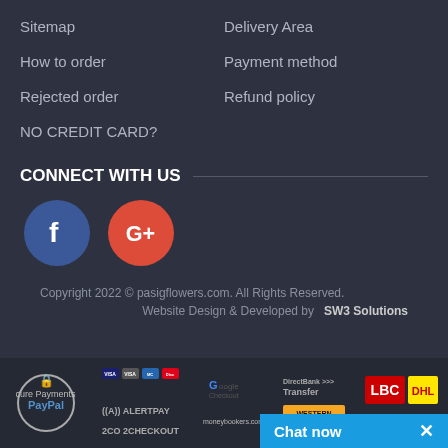Sitemap
Delivery Area
How to order
Payment method
Rejected order
Refund policy
NO CREDIT CARD?
CONNECT WITH US
[Figure (logo): Facebook and Google+ social media circular icon buttons]
Copyright 2022 © pasigflowers.com. All Rights Reserved.
Website Design & Developed by   SW3 Solutions
[Figure (infographic): Payment method logos: Secure Payments by PayPal, credit cards, AlertPay, 2Checkout, Google Checkout, Moneybookers, DirectBank Transfer, Western Union Money Transfer, LBC Hari ng Padala, DHL Express, FedEx]
Chat now  ×